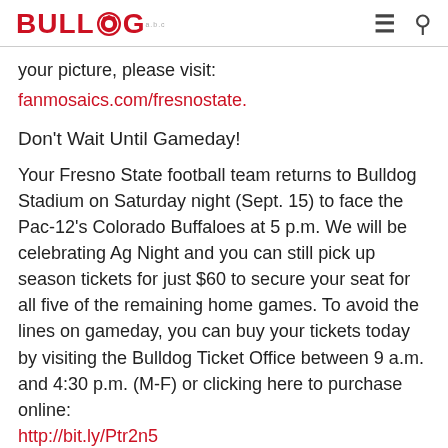[Figure (logo): The Bulldog logo with paw print icon replacing the letter O]
your picture, please visit:
fanmosaics.com/fresnostate.
Don't Wait Until Gameday!
Your Fresno State football team returns to Bulldog Stadium on Saturday night (Sept. 15) to face the Pac-12's Colorado Buffaloes at 5 p.m. We will be celebrating Ag Night and you can still pick up season tickets for just $60 to secure your seat for all five of the remaining home games. To avoid the lines on gameday, you can buy your tickets today by visiting the Bulldog Ticket Office between 9 a.m. and 4:30 p.m. (M-F) or clicking here to purchase online:
http://bit.ly/Ptr2n5